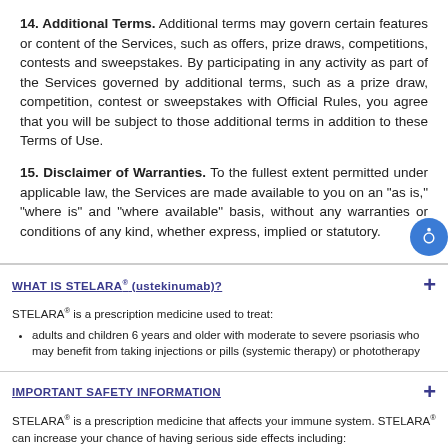14. Additional Terms. Additional terms may govern certain features or content of the Services, such as offers, prize draws, competitions, contests and sweepstakes. By participating in any activity as part of the Services governed by additional terms, such as a prize draw, competition, contest or sweepstakes with Official Rules, you agree that you will be subject to those additional terms in addition to these Terms of Use.
15. Disclaimer of Warranties. To the fullest extent permitted under applicable law, the Services are made available to you on an "as is," "where is" and "where available" basis, without any warranties or conditions of any kind, whether express, implied or statutory.
WHAT IS STELARA® (ustekinumab)?
STELARA® is a prescription medicine used to treat:
adults and children 6 years and older with moderate to severe psoriasis who may benefit from taking injections or pills (systemic therapy) or phototherapy
IMPORTANT SAFETY INFORMATION
STELARA® is a prescription medicine that affects your immune system. STELARA® can increase your chance of having serious side effects including:
Serious Infections